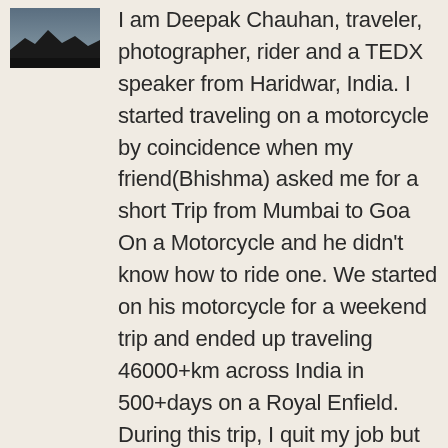[Figure (photo): Small thumbnail photo showing a landscape scene, dark silhouette of mountains or hills against a moody sky.]
I am Deepak Chauhan, traveler, photographer, rider and a TEDX speaker from Haridwar, India. I started traveling on a motorcycle by coincidence when my friend(Bhishma) asked me for a short Trip from Mumbai to Goa On a Motorcycle and he didn't know how to ride one. We started on his motorcycle for a weekend trip and ended up traveling 46000+km across India in 500+days on a Royal Enfield. During this trip, I quit my job but kept traveling on people generosity. After my India tour, I started a crowdfunding campaign for Europe Trip and Traveled 16,000 Km across 18 European countries on a 25-year-old motorcycle